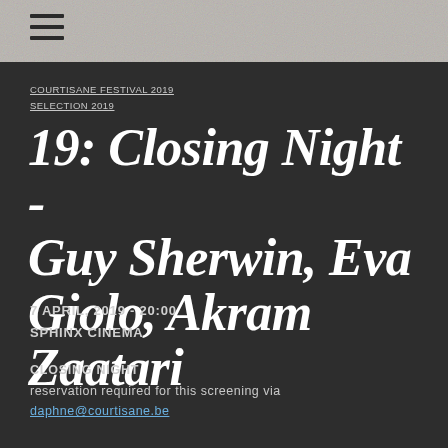≡ (hamburger menu icon)
COURTISANE FESTIVAL 2019
SELECTION 2019
19: Closing Night - Guy Sherwin, Eva Giolo, Akram Zaatari
7 APRIL, 2019 - 20:00
SPHINX CINEMA
CLOSING NIGHT
reservation required for this screening via daphne@courtisane.be